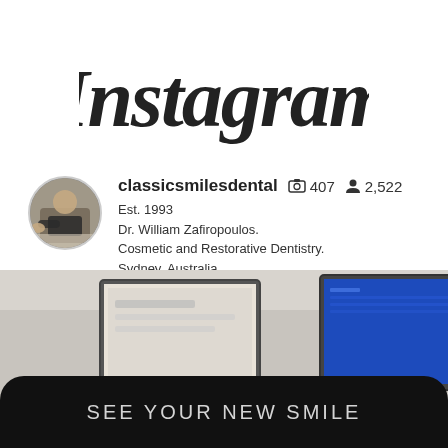[Figure (logo): Instagram wordmark logo in dark cursive/script font]
[Figure (photo): Circular profile photo of a person in a dental/lab setting]
classicsmilesdental  407  2,522
Est. 1993
Dr. William Zafiropoulos.
Cosmetic and Restorative Dentistry.
Sydney, Australia
[Figure (photo): Photo of a person sitting at a desk with two computer monitors, one showing a blue screen, dental office setting]
SEE YOUR NEW SMILE